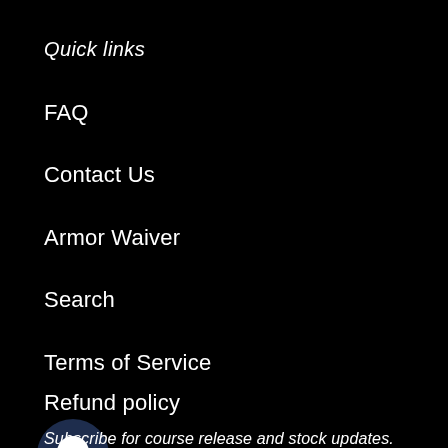Quick links
FAQ
Contact Us
Armor Waiver
Search
Terms of Service
Refund policy
[Figure (illustration): Chat bubble icon — dark navy circular button with white speech bubble icon]
Subscribe for course release and stock updates.